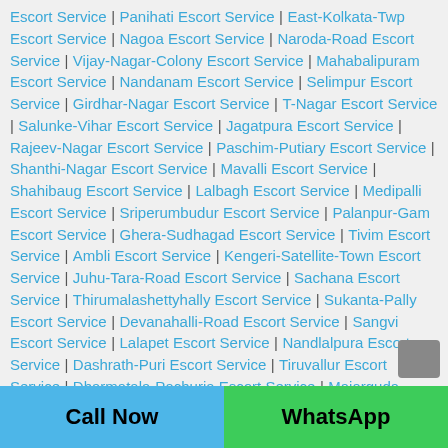Escort Service | Panihati Escort Service | East-Kolkata-Twp Escort Service | Nagoa Escort Service | Naroda-Road Escort Service | Vijay-Nagar-Colony Escort Service | Mahabalipuram Escort Service | Nandanam Escort Service | Selimpur Escort Service | Girdhar-Nagar Escort Service | T-Nagar Escort Service | Salunke-Vihar Escort Service | Jagatpura Escort Service | Rajeev-Nagar Escort Service | Paschim-Putiary Escort Service | Shanthi-Nagar Escort Service | Mavalli Escort Service | Shahibaug Escort Service | Lalbagh Escort Service | Medipalli Escort Service | Sriperumbudur Escort Service | Palanpur-Gam Escort Service | Ghera-Sudhagad Escort Service | Tivim Escort Service | Ambli Escort Service | Kengeri-Satellite-Town Escort Service | Juhu-Tara-Road Escort Service | Sachana Escort Service | Thirumalashettyhally Escort Service | Sukanta-Pally Escort Service | Devanahalli-Road Escort Service | Sangvi Escort Service | Lalapet Escort Service | Nandlalpura Escort Service | Dashrath-Puri Escort Service | Tiruvallur Escort Service | Dharmatala-Pachuria Escort Service | Majarguda Escort
Call Now | WhatsApp